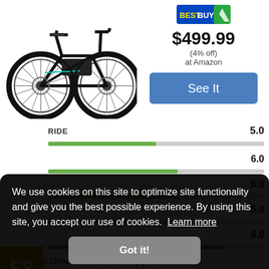[Figure (photo): Black folding electric bicycle (Ancheer brand) shown from the side on white background]
$499.99
(4% off)
at Amazon
See It
58
RIDE   5.0
6.0
6.0
5.0
8.0
We use cookies on this site to optimize site functionality and give you the best possible experience. By using this site, you accept our use of cookies.  Learn more
Got it!
Wheel Size: 16-inch | Battery Capacity (Wh): 288